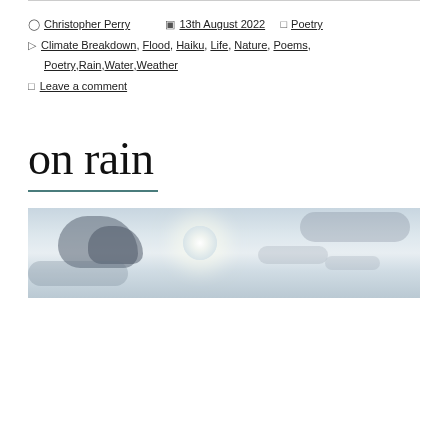Christopher Perry | 13th August 2022 | Poetry | Tags: Climate Breakdown, Flood, Haiku, Life, Nature, Poems, Poetry, Rain, Water, Weather | Leave a comment
on rain
[Figure (photo): A sky photograph showing cloudy overcast sky with a bright sun partially visible behind clouds, hazy light blue-grey tones]